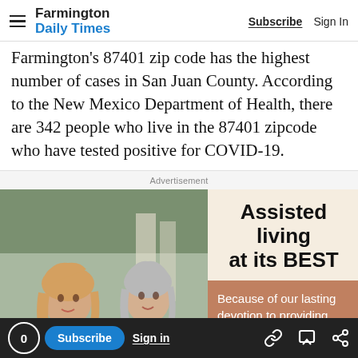Farmington Daily Times — Subscribe | Sign In
Farmington's 87401 zip code has the highest number of cases in San Juan County. According to the New Mexico Department of Health, there are 342 people who live in the 87401 zipcode who have tested positive for COVID-19.
Advertisement
[Figure (photo): Two women smiling outdoors — one younger with blonde hair, one older with grey hair wearing a light purple cardigan and pearl necklace.]
Assisted living at its BEST
Because of our lasting devotion to providing quality assisted living services, we were
Living Community for
0  Subscribe  Sign in